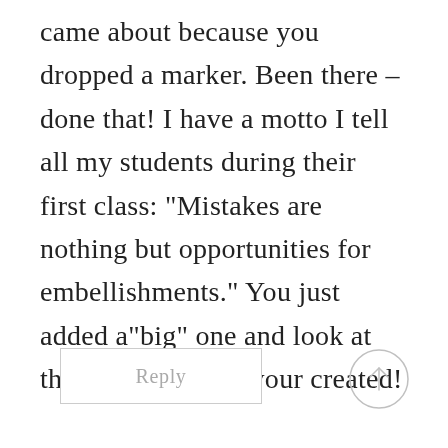came about because you dropped a marker. Been there – done that! I have a motto I tell all my students during their first class: "Mistakes are nothing but opportunities for embellishments." You just added a"big" one and look at the gorgeous card your created!